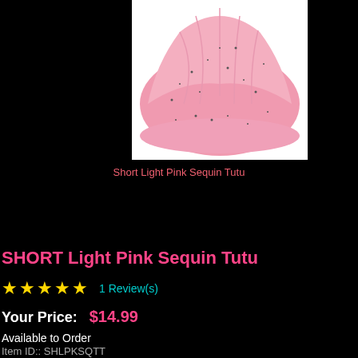[Figure (photo): Close-up photo of a short light pink sequin tutu against a white background. The tutu is fluffy and pink with visible glitter/sequin speckles.]
Short Light Pink Sequin Tutu
SHORT Light Pink Sequin Tutu
★★★★★ 1 Review(s)
Your Price:   $14.99
Available to Order
Item ID:: SHLPKSQTT
Choose Options